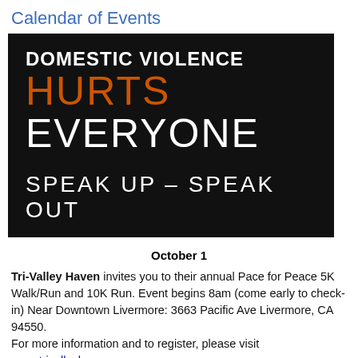Calendar of Events
[Figure (illustration): Black banner image with text: 'DOMESTIC VIOLENCE HURTS EVERYONE' (HURTS in orange, rest in white) and 'SPEAK UP – SPEAK OUT' in white below]
October 1
Tri-Valley Haven invites you to their annual Pace for Peace 5K Walk/Run and 10K Run. Event begins 8am (come early to check-in) Near Downtown Livermore: 3663 Pacific Ave Livermore, CA 94550. For more information and to register, please visit www.trivalleyhaven.org.